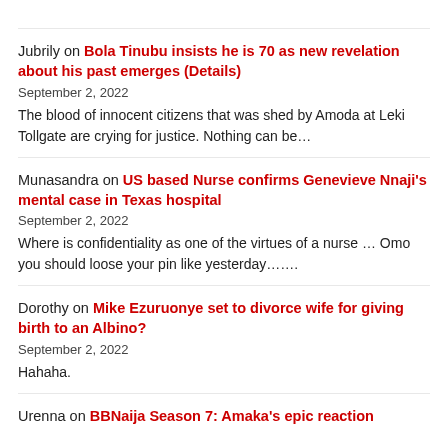Jubrily on Bola Tinubu insists he is 70 as new revelation about his past emerges (Details)
September 2, 2022
The blood of innocent citizens that was shed by Amoda at Leki Tollgate are crying for justice. Nothing can be…
Munasandra on US based Nurse confirms Genevieve Nnaji's mental case in Texas hospital
September 2, 2022
Where is confidentiality as one of the virtues of a nurse … Omo you should loose your pin like yesterday…….
Dorothy on Mike Ezuruonye set to divorce wife for giving birth to an Albino?
September 2, 2022
Hahaha.
Urenna on BBNaija Season 7: Amaka's epic reaction